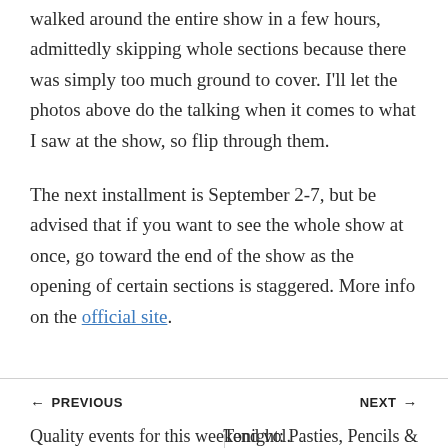walked around the entire show in a few hours, admittedly skipping whole sections because there was simply too much ground to cover. I'll let the photos above do the talking when it comes to what I saw at the show, so flip through them.
The next installment is September 2-7, but be advised that if you want to see the whole show at once, go toward the end of the show as the opening of certain sections is staggered. More info on the official site.
← PREVIOUS
Quality events for this weekend vol. 133
NEXT →
Tonight: Pasties, Pencils & Pints with